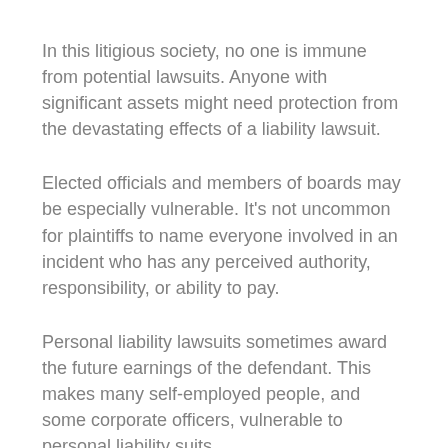In this litigious society, no one is immune from potential lawsuits. Anyone with significant assets might need protection from the devastating effects of a liability lawsuit.
Elected officials and members of boards may be especially vulnerable. It's not uncommon for plaintiffs to name everyone involved in an incident who has any perceived authority, responsibility, or ability to pay.
Personal liability lawsuits sometimes award the future earnings of the defendant. This makes many self-employed people, and some corporate officers, vulnerable to personal liability suits.
Fortunately, there is a way to help protect yourself. You can supplement both your auto and homeowners policies with excess liability insurance, or an “umbrella policy.” For as little as a few hundred